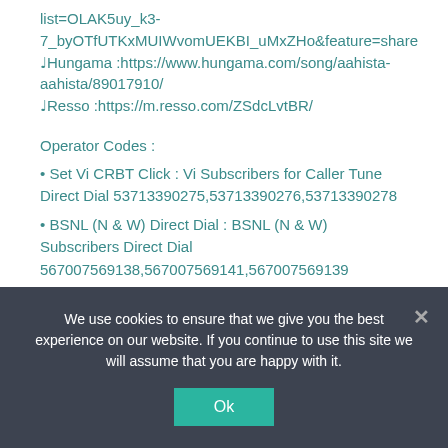list=OLAK5uy_k3-7_byOTfUTKxMUIWvomUEKBI_uMxZHo&feature=share
♩Hungama :https://www.hungama.com/song/aahista-aahista/89017910/
♩Resso :https://m.resso.com/ZSdcLvtBR/
Operator Codes :
Set Vi CRBT Click : Vi Subscribers for Caller Tune Direct Dial 53713390275,53713390276,53713390278
BSNL (N & W) Direct Dial : BSNL (N & W) Subscribers Direct Dial 567007569138,567007569141,567007569139
Credits :
Song : Aahista Aahista
Singer : Saaj Bhatt
Music Composer : Amjad Nadeem Aamir
We use cookies to ensure that we give you the best experience on our website. If you continue to use this site we will assume that you are happy with it.